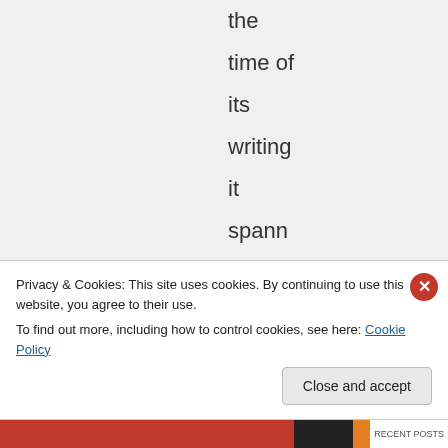the time of its writing it spanned her career and each story
Privacy & Cookies: This site uses cookies. By continuing to use this website, you agree to their use. To find out more, including how to control cookies, see here: Cookie Policy
Close and accept